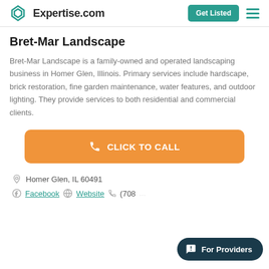Expertise.com | Get Listed
Bret-Mar Landscape
Bret-Mar Landscape is a family-owned and operated landscaping business in Homer Glen, Illinois. Primary services include hardscape, brick restoration, fine garden maintenance, water features, and outdoor lighting. They provide services to both residential and commercial clients.
[Figure (other): Orange CLICK TO CALL button with phone icon]
Homer Glen, IL 60491
Facebook | Website | (708)...
[Figure (other): For Providers chat pill button in dark teal]